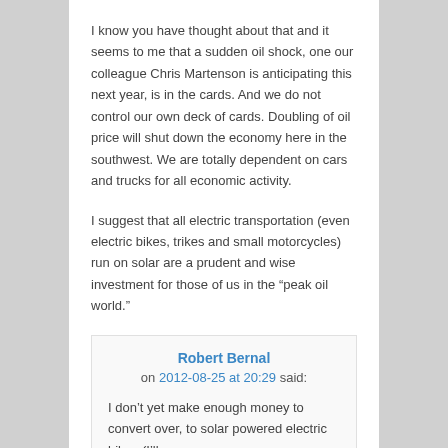I know you have thought about that and it seems to me that a sudden oil shock, one our colleague Chris Martenson is anticipating this next year, is in the cards. And we do not control our own deck of cards. Doubling of oil price will shut down the economy here in the southwest. We are totally dependent on cars and trucks for all economic activity.
I suggest that all electric transportation (even electric bikes, trikes and small motorcycles) run on solar are a prudent and wise investment for those of us in the “peak oil world.”
Robert Bernal on 2012-08-25 at 20:29 said:
I don’t yet make enough money to convert over, to solar powered electric bikes (I’ll